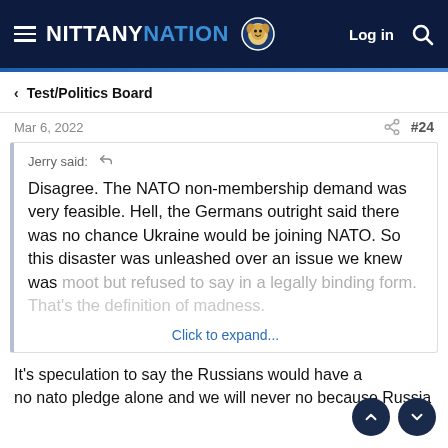NITTANY NATION — Log in
Test/Politics Board
Mar 6, 2022   #24
Jerry said: ↺

Disagree. The NATO non-membership demand was very feasible. Hell, the Germans outright said there was no chance Ukraine would be joining NATO. So this disaster was unleashed over an issue we knew was moot but refused to say in a legally binding form. That's the definition of madness.

Click to expand...
It's speculation to say the Russians would have a… no nato pledge alone and we will never no because Russia